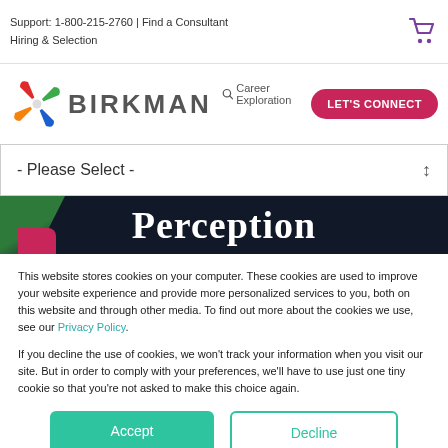Support: 1-800-215-2760 | Find a Consultant
Hiring & Selection
[Figure (logo): Birkman logo with colorful pinwheel icon and BIRKMAN text]
- Please Select -
Perception
This website stores cookies on your computer. These cookies are used to improve your website experience and provide more personalized services to you, both on this website and through other media. To find out more about the cookies we use, see our Privacy Policy.
If you decline the use of cookies, we won't track your information when you visit our site. But in order to comply with your preferences, we'll have to use just one tiny cookie so that you're not asked to make this choice again.
Accept
Decline